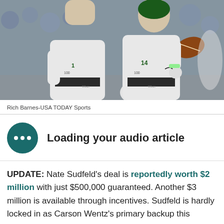[Figure (photo): Two NFL players in white Philadelphia Eagles uniforms on a football field. One player holds a football, they appear to be celebrating or talking. NFL 100th season patches visible on jerseys.]
Rich Barnes-USA TODAY Sports
Loading your audio article
UPDATE: Nate Sudfeld's deal is reportedly worth $2 million with just $500,000 guaranteed. Another $3 million is available through incentives. Sudfeld is hardly locked in as Carson Wentz's primary backup this season.